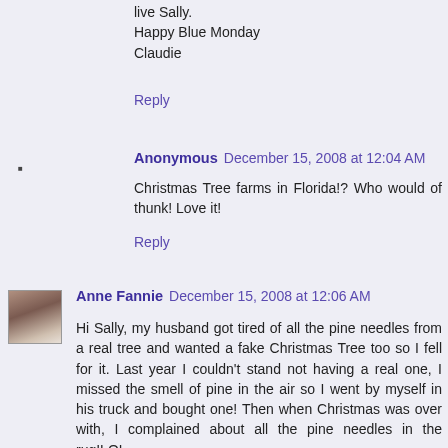live Sally.
Happy Blue Monday
Claudie
Reply
Anonymous December 15, 2008 at 12:04 AM
Christmas Tree farms in Florida!? Who would of thunk! Love it!
Reply
[Figure (photo): Small avatar photo of Anne Fannie, a woman with dark hair]
Anne Fannie December 15, 2008 at 12:06 AM
Hi Sally, my husband got tired of all the pine needles from a real tree and wanted a fake Christmas Tree too so I fell for it. Last year I couldn't stand not having a real one, I missed the smell of pine in the air so I went by myself in his truck and bought one! Then when Christmas was over with, I complained about all the pine needles in the rug!LOL
So I bought a candle this year of a Christmas tree smell!